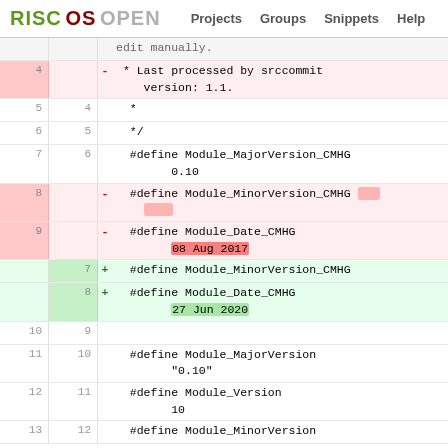RISC OS OPEN  Projects  Groups  Snippets  Help
[Figure (screenshot): Code diff view showing changes to a RISC OS module header file. Deleted lines (pink/red) show old MinorVersion and Date CMHG definitions (08 Aug 2017), added lines (green) show new definitions (27 Jun 2020). Neutral lines show surrounding context including #define Module_MajorVersion_CMHG 0.10, #define Module_MajorVersion "0.10", #define Module_Version 10, #define Module_MinorVersion.]